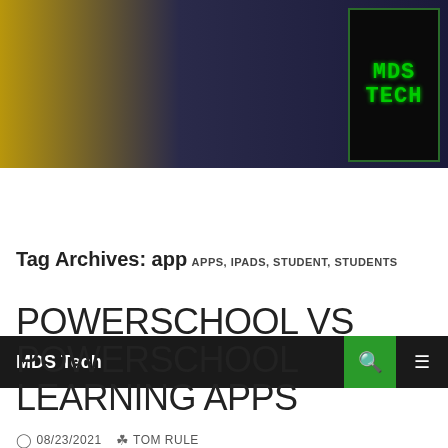[Figure (logo): MDS Tech website header banner with gold-to-dark-blue gradient and MDS TECH circuit board logo in top right]
MDS Tech
Tag Archives: app
APPS, IPADS, STUDENT, STUDENTS
POWERSCHOOL VS POWERSCHOOL LEARNING APPS
08/23/2021  TOM RULE